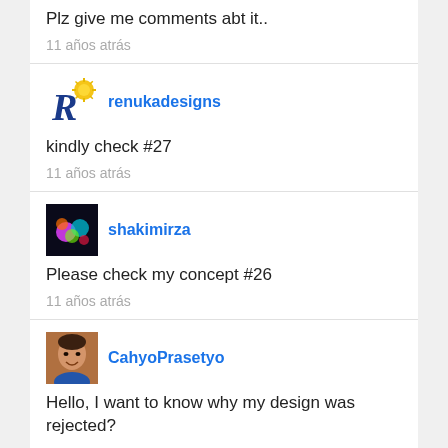Plz give me comments abt it..
11 años atrás
renukadesigns
kindly check #27
11 años atrás
shakimirza
Please check my concept #26
11 años atrás
CahyoPrasetyo
Hello, I want to know why my design was rejected?